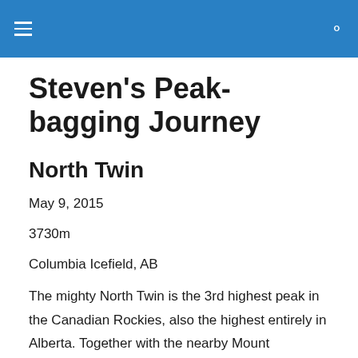≡ 🔍
Steven's Peak-bagging Journey
North Twin
May 9, 2015
3730m
Columbia Icefield, AB
The mighty North Twin is the 3rd highest peak in the Canadian Rockies, also the highest entirely in Alberta. Together with the nearby Mount Columbia, it's considered